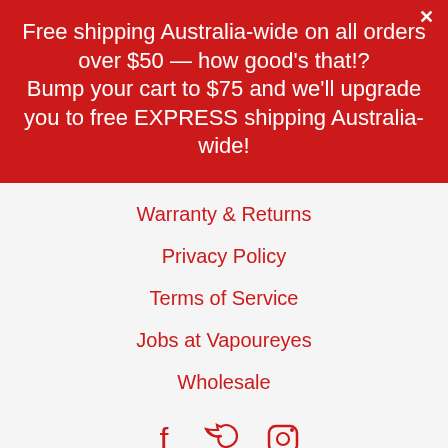Free shipping Australia-wide on all orders over $50 — how good's that!? Bump your cart to $75 and we'll upgrade you to free EXPRESS shipping Australia-wide!
Warranty & Returns
Privacy Policy
Terms of Service
Jobs at Vapoureyes
Wholesale
[Figure (infographic): Social media icons: Facebook, Twitter, Instagram]
VISIT OUR FLAGSHIP STORE
Rewards
?